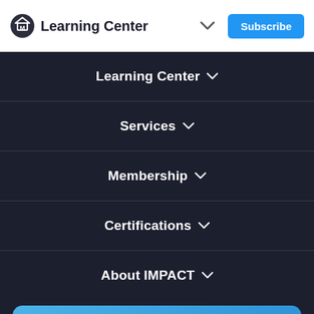Learning Center
Learning Center
Services
Membership
Certifications
About IMPACT
Free Content Manager Hiring Course ↗